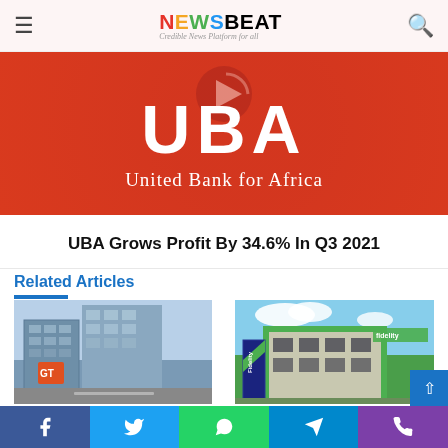NEWSBEAT - Credible News Platform for all
[Figure (photo): UBA (United Bank for Africa) red logo banner with white UBA text and tagline 'United Bank for Africa']
UBA Grows Profit By 34.6% In Q3 2021
Related Articles
[Figure (photo): GTBank or similar Nigerian bank building - tall glass office tower]
[Figure (photo): Fidelity Bank branch building with green signage]